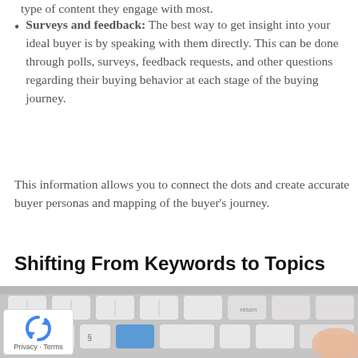Surveys and feedback: The best way to get insight into your ideal buyer is by speaking with them directly. This can be done through polls, surveys, feedback requests, and other questions regarding their buying behavior at each stage of the buying journey.
This information allows you to connect the dots and create accurate buyer personas and mapping of the buyer's journey.
Shifting From Keywords to Topics
[Figure (photo): Close-up photo of a white computer keyboard with a finger pressing a blue key, and a 'return' key visible.]